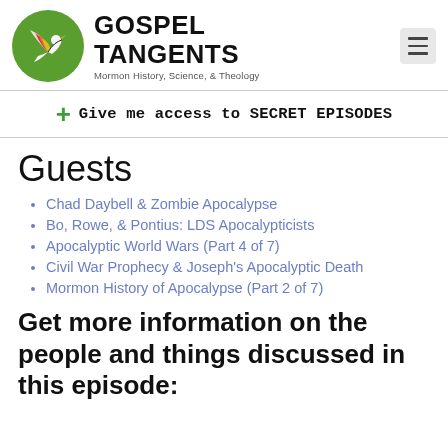GOSPEL TANGENTS — Mormon History, Science, & Theology
+ Give me access to SECRET EPISODES
Guests
Chad Daybell & Zombie Apocalypse
Bo, Rowe, & Pontius: LDS Apocalypticists
Apocalyptic World Wars (Part 4 of 7)
Civil War Prophecy & Joseph's Apocalyptic Death
Mormon History of Apocalypse (Part 2 of 7)
Get more information on the people and things discussed in this episode: